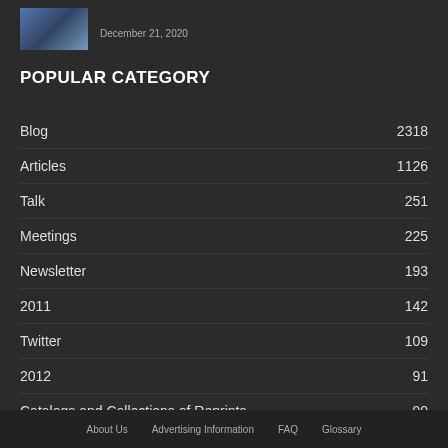[Figure (photo): Small thumbnail image with blue/tech tones]
December 21, 2020
POPULAR CATEGORY
Blog  2318
Articles  1126
Talk  251
Meetings  225
Newsletter  193
2011  142
Twitter  109
2012  91
Catalogs and Collections of Reprints  90
About Us  Advertising Information  FAQ  Glossary